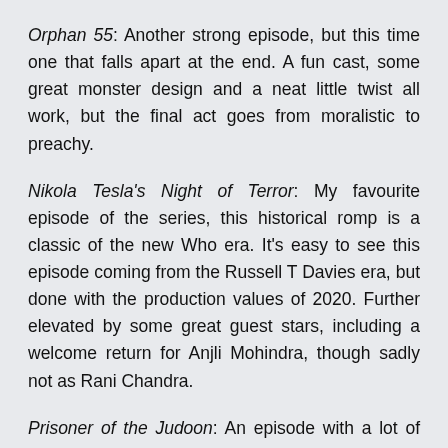Orphan 55: Another strong episode, but this time one that falls apart at the end. A fun cast, some great monster design and a neat little twist all work, but the final act goes from moralistic to preachy.
Nikola Tesla's Night of Terror: My favourite episode of the series, this historical romp is a classic of the new Who era. It's easy to see this episode coming from the Russell T Davies era, but done with the production values of 2020. Further elevated by some great guest stars, including a welcome return for Anjli Mohindra, though sadly not as Rani Chandra.
Prisoner of the Judoon: An episode with a lot of potential, but fails in the execution. On the one hand it's a parade of welcome faces, from the titular Judoon to a surprise